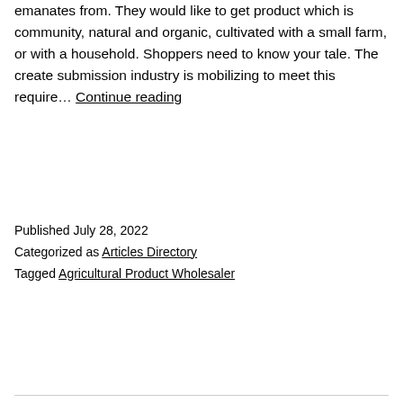emanates from. They would like to get product which is community, natural and organic, cultivated with a small farm, or with a household. Shoppers need to know your tale. The create submission industry is mobilizing to meet this require… Continue reading
Published July 28, 2022
Categorized as Articles Directory
Tagged Agricultural Product Wholesaler